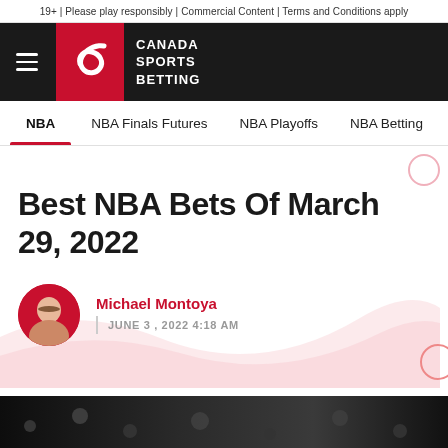19+ | Please play responsibly | Commercial Content | Terms and Conditions apply
[Figure (logo): Canada Sports Betting logo — red square with white serpentine 'S' icon, white bold text 'CANADA SPORTS BETTING']
NBA | NBA Finals Futures | NBA Playoffs | NBA Betting
Best NBA Bets Of March 29, 2022
Michael Montoya
JUNE 3, 2022 4:18 AM
[Figure (photo): Dark photo of a crowd at an NBA game, partially visible at bottom of page]